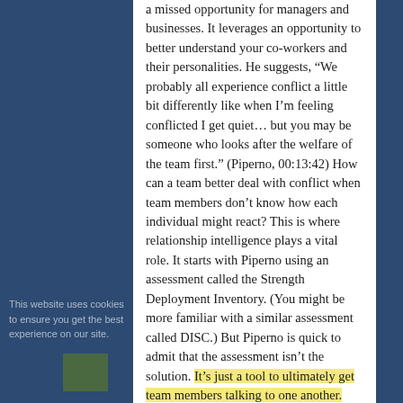a missed opportunity for managers and businesses. It leverages an opportunity to better understand your co-workers and their personalities. He suggests, “We probably all experience conflict a little bit differently like when I’m feeling conflicted I get quiet… but you may be someone who looks after the welfare of the team first.” (Piperno, 00:13:42) How can a team better deal with conflict when team members don’t know how each individual might react? This is where relationship intelligence plays a vital role. It starts with Piperno using an assessment called the Strength Deployment Inventory. (You might be more familiar with a similar assessment called DISC.) But Piperno is quick to admit that the assessment isn’t the solution. It’s just a tool to ultimately get team members talking to one another.
How Do You